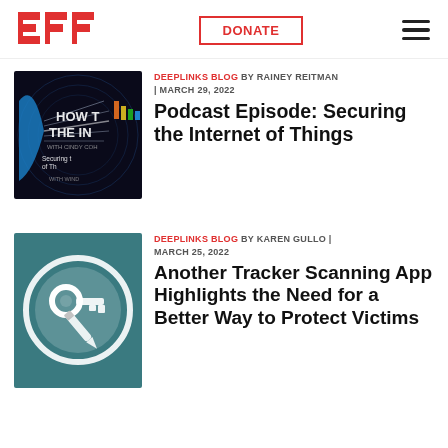EFF | DONATE | Navigation menu
[Figure (illustration): Podcast episode thumbnail: 'How the Internet Works' with text 'Securing the Internet of Things' on a dark background with colorful graphic]
DEEPLINKS BLOG BY RAINEY REITMAN | MARCH 29, 2022
Podcast Episode: Securing the Internet of Things
[Figure (illustration): Teal square with white circle containing crossed key and pencil icons]
DEEPLINKS BLOG BY KAREN GULLO | MARCH 25, 2022
Another Tracker Scanning App Highlights the Need for a Better Way to Protect Victims